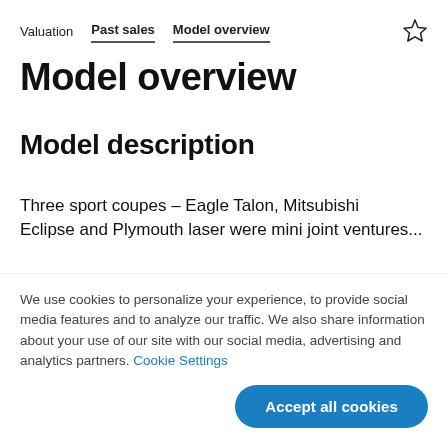Valuation | Past sales | Model overview
Model overview
Model description
Three sport coupes – Eagle Talon, Mitsubishi Eclipse and Plymouth Laser were mini joint ventures…
We use cookies to personalize your experience, to provide social media features and to analyze our traffic. We also share information about your use of our site with our social media, advertising and analytics partners. Cookie Settings
Accept all cookies